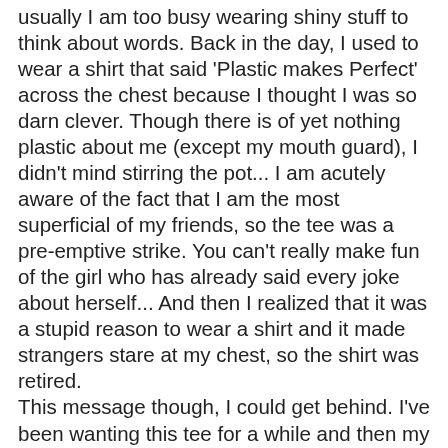usually I am too busy wearing shiny stuff to think about words. Back in the day, I used to wear a shirt that said 'Plastic makes Perfect' across the chest because I thought I was so darn clever. Though there is of yet nothing plastic about me (except my mouth guard), I didn't mind stirring the pot... I am acutely aware of the fact that I am the most superficial of my friends, so the tee was a pre-emptive strike. You can't really make fun of the girl who has already said every joke about herself... And then I realized that it was a stupid reason to wear a shirt and it made strangers stare at my chest, so the shirt was retired. This message though, I could get behind. I've been wanting this tee for a while and then my supervisor actually tracked one down for me. Pretty sweet... Last year alone, over 3000(!!!!!) cats got put down in the Hamilton area. I've said it before, but if you are lounging on your leather couch, eating Jelly Belly's and watching your 27 foot (is that size on the market yet?), high definition TV and telling yourself that you can't afford to take care of your cat's business, then something is clearly wrong with you. If you cannot afford to emotionally, physically and financially support an animal, do not get a pet.